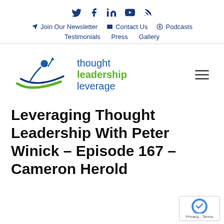Social icons: Twitter, Facebook, LinkedIn, YouTube, RSS | Join Our Newsletter | Contact Us | Podcasts | Testimonials | Press | Gallery
[Figure (logo): Thought Leadership Leverage logo with stylized figure and blue/green swish design]
Leveraging Thought Leadership With Peter Winick – Episode 167 – Cameron Herold